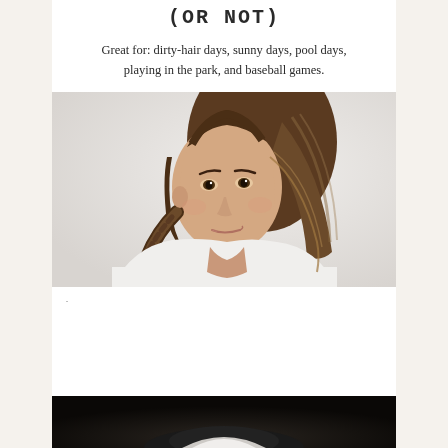(OR NOT)
Great for: dirty-hair days, sunny days, pool days, playing in the park, and baseball games.
[Figure (photo): Young woman with long brown hair in a side braid, wearing a white t-shirt, looking at the camera with a slight smirk, photographed against a light/white background]
.
[Figure (photo): Dark/black background image partially visible at bottom of page, appears to show someone wearing a hat]